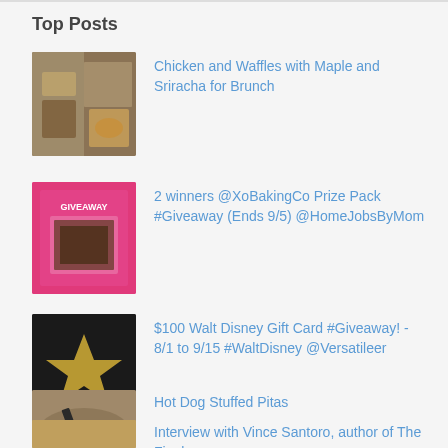Top Posts
Chicken and Waffles with Maple and Sriracha for Brunch
2 winners @XoBakingCo Prize Pack #Giveaway (Ends 9/5) @HomeJobsByMom
$100 Walt Disney Gift Card #Giveaway! - 8/1 to 9/15 #WaltDisney @Versatileer
Hot Dog Stuffed Pitas
Interview with Vince Santoro, author of The Final